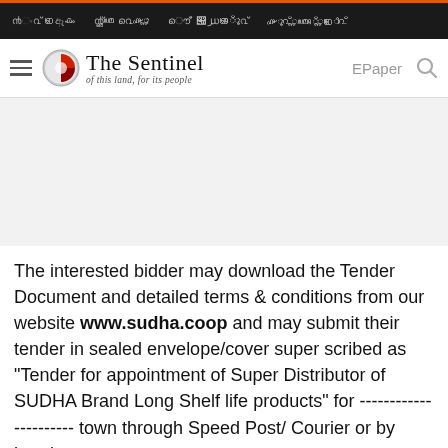The Sentinel – of this land, for its people | EPaper
[Figure (other): Advertisement banner placeholder (gray rectangle)]
The interested bidder may download the Tender Document and detailed terms & conditions from our website www.sudha.coop and may submit their tender in sealed envelope/cover super scribed as "Tender for appointment of Super Distributor of SUDHA Brand Long Shelf life products" for -------------- town through Speed Post/ Courier or by hand